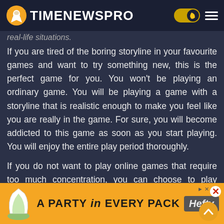TIMENEWSPRO
real-life situations.
If you are tired of the boring storyline in your favourite games and want to try something new, this is the perfect game for you. You won't be playing an ordinary game. You will be playing a game with a storyline that is realistic enough to make you feel like you are really in the game. For sure, you will become addicted to this game as soon as you start playing. You will enjoy the entire play period thoroughly.
If you do not want to play online games that require too much concentration, you can choose to play Among us Mod APK, this is very exciting and the virtual world makes it more interesting.
[Figure (other): Advertisement banner: orange background with text 'A PARTY in EVERY PACK' and Hefty logo]